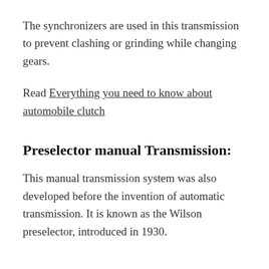The synchronizers are used in this transmission to prevent clashing or grinding while changing gears.
Read Everything you need to know about automobile clutch
Preselector manual Transmission:
This manual transmission system was also developed before the invention of automatic transmission. It is known as the Wilson preselector, introduced in 1930.